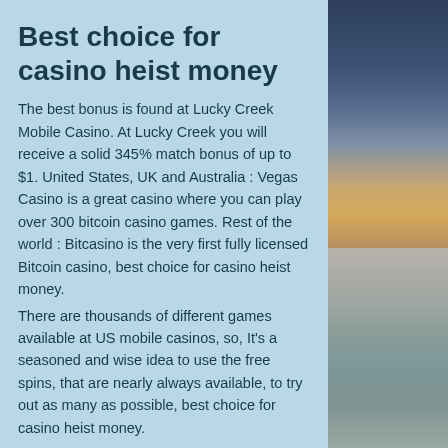Best choice for casino heist money
The best bonus is found at Lucky Creek Mobile Casino. At Lucky Creek you will receive a solid 345% match bonus of up to $1. United States, UK and Australia : Vegas Casino is a great casino where you can play over 300 bitcoin casino games. Rest of the world : Bitcasino is the very first fully licensed Bitcoin casino, best choice for casino heist money.
There are thousands of different games available at US mobile casinos, so, It's a seasoned and wise idea to use the free spins, that are nearly always available, to try out as many as possible, best choice for casino heist money.
With a few taps on your phone, you can start